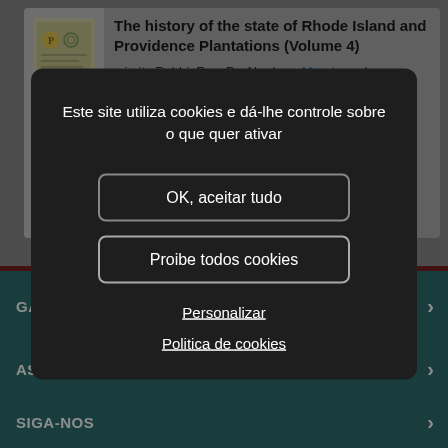The history of the state of Rhode Island and Providence Plantations (Volume 4)
...in its Rabbi, Rev. Dr. Abraham Mendes, who was greatly beloved and to whose memory a beautiful
Este site utiliza cookies e dá-lhe controle sobre o que quer ativar
OK, aceitar tudo
Proibe todos cookies
Personalizar
Politica de cookies
GALÁX
AS NO    S APPS
SIGA-NOS